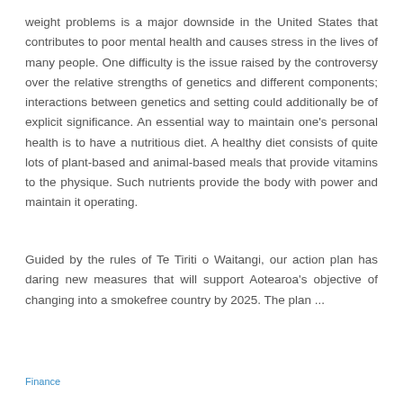weight problems is a major downside in the United States that contributes to poor mental health and causes stress in the lives of many people. One difficulty is the issue raised by the controversy over the relative strengths of genetics and different components; interactions between genetics and setting could additionally be of explicit significance. An essential way to maintain one’s personal health is to have a nutritious diet. A healthy diet consists of quite lots of plant-based and animal-based meals that provide vitamins to the physique. Such nutrients provide the body with power and maintain it operating.
Guided by the rules of Te Tiriti o Waitangi, our action plan has daring new measures that will support Aotearoa’s objective of changing into a smokefree country by 2025. The plan ...
Finance